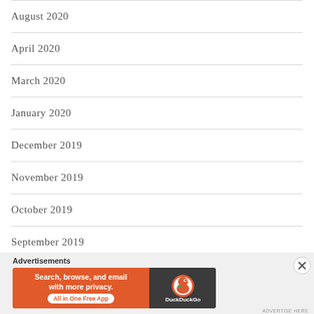August 2020
April 2020
March 2020
January 2020
December 2019
November 2019
October 2019
September 2019
August 2019
July 2019
[Figure (screenshot): DuckDuckGo advertisement banner: 'Search, browse, and email with more privacy. All in One Free App' with DuckDuckGo logo on dark background]